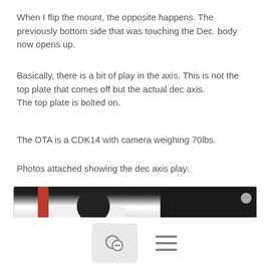When I flip the mount, the opposite happens. The previously bottom side that was touching the Dec. body now opens up.
Basically, there is a bit of play in the axis. This is not the top plate that comes off but the actual dec axis.
The top plate is bolted on.
The OTA is a CDK14 with camera weighing 70lbs.
Photos attached showing the dec axis play:
[Figure (photo): Close-up photo of telescope mount showing the dec axis, with white body, black circular element, red cable, and dark background.]